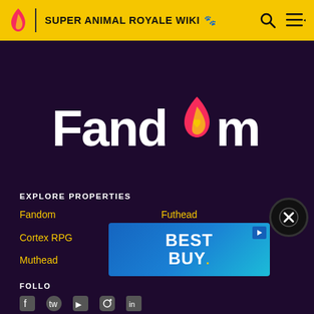SUPER ANIMAL ROYALE WIKI
[Figure (logo): Fandom logo — word 'Fandom' in white bold with a flame/heart icon replacing the 'o', on dark purple background]
EXPLORE PROPERTIES
Fandom
Futhead
Cortex RPG
Fanatical
Muthead
[Figure (screenshot): Best Buy advertisement banner — blue gradient background with white bold text 'BEST BUY.' and yellow dot]
FOLLOW